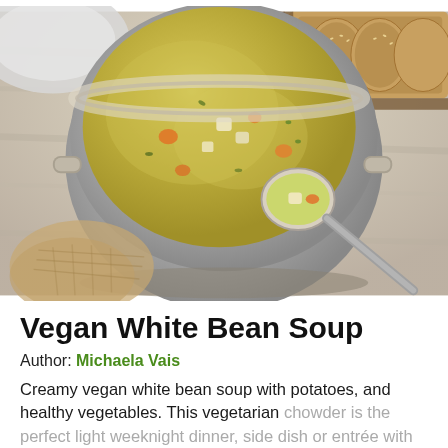[Figure (photo): Photo of a creamy vegan white bean soup in a large silver pot, with a ladle scooping up soup with visible chunks of potato and carrot. Sliced sesame bread loaf visible in the upper right corner. Burlap texture visible in the lower left.]
Vegan White Bean Soup
Author: Michaela Vais
Creamy vegan white bean soup with potatoes, and healthy vegetables. This vegetarian chowder is the perfect light weeknight dinner, side dish or entrée with wholesome